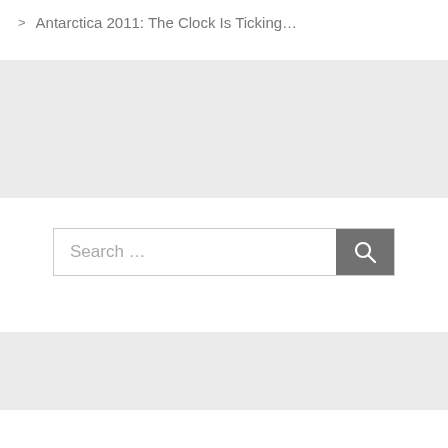> Antarctica 2011: The Clock Is Ticking...
[Figure (screenshot): Gray banner placeholder area at top]
[Figure (screenshot): Search bar with text 'Search ...' and a dark gray search button with magnifying glass icon]
[Figure (screenshot): Gray banner placeholder area at bottom]